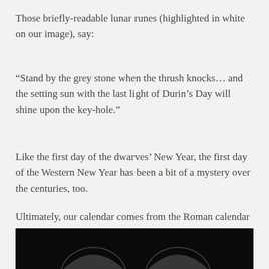Those briefly-readable lunar runes (highlighted in white on our image), say:
“Stand by the grey stone when the thrush knocks… and the setting sun with the last light of Durin’s Day will shine upon the key-hole.”
Like the first day of the dwarves’ New Year, the first day of the Western New Year has been a bit of a mystery over the centuries, too.
Ultimately, our calendar comes from the Roman calendar and that calendar, at its beginnings, was already in trouble, and all because of that same moon which illuminates Thror’s map.
[Figure (photo): Dark photograph, likely showing a moon or celestial object against a black background, partially cropped at the bottom of the page.]